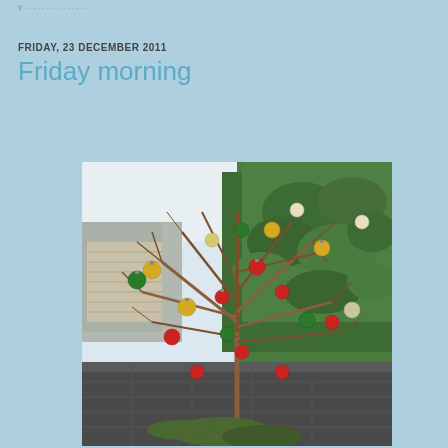y ................
FRIDAY, 23 DECEMBER 2011
Friday morning
[Figure (photo): A bare tree branch decorated with colorful Christmas ornaments (gold, red, green) in an outdoor garden setting with a green hedge in the background and dark paving stones.]